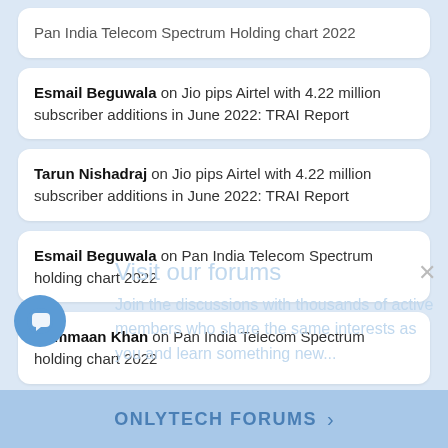... on Pan India Telecom Spectrum Holding chart 2022
Esmail Beguwala on Jio pips Airtel with 4.22 million subscriber additions in June 2022: TRAI Report
Tarun Nishadraj on Jio pips Airtel with 4.22 million subscriber additions in June 2022: TRAI Report
Esmail Beguwala on Pan India Telecom Spectrum holding chart 2022
Rummaan Khan on Pan India Telecom Spectrum holding chart 2022
[Figure (screenshot): Forum overlay popup with text: Visit our forums. Join the discussions with thousands of active members who share the same interests as you and learn something new... with ONLYTECH FORUMS button and close X button]